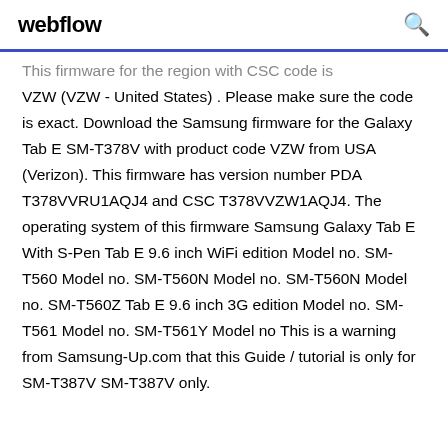webflow
This firmware for the region with CSC code is VZW (VZW - United States) . Please make sure the code is exact. Download the Samsung firmware for the Galaxy Tab E SM-T378V with product code VZW from USA (Verizon). This firmware has version number PDA T378VVRU1AQJ4 and CSC T378VVZW1AQJ4. The operating system of this firmware Samsung Galaxy Tab E With S-Pen Tab E 9.6 inch WiFi edition Model no. SM-T560 Model no. SM-T560N Model no. SM-T560N Model no. SM-T560Z Tab E 9.6 inch 3G edition Model no. SM-T561 Model no. SM-T561Y Model no This is a warning from Samsung-Up.com that this Guide / tutorial is only for SM-T387V SM-T387V only.